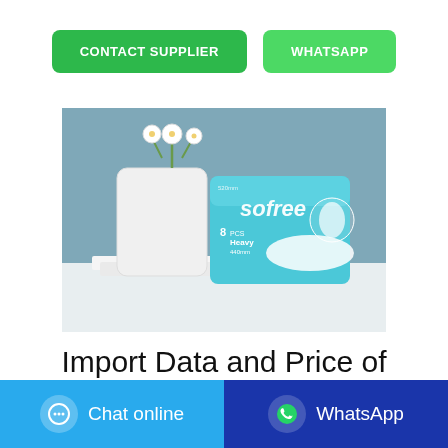[Figure (other): Two green buttons: CONTACT SUPPLIER and WHATSAPP]
[Figure (photo): Product photo of Sofree brand sanitary napkins (8 pcs Heavy) in a blue package, displayed next to a white flower vase on a white surface with a blue-grey background]
Import Data and Price of sanitary napkins | Zauba
[Figure (other): Bottom bar with Chat online button (light blue) and WhatsApp button (dark blue)]